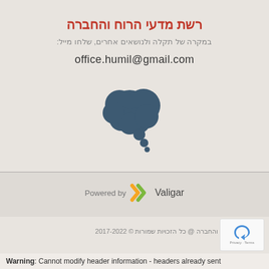רשת מדעי הרוח והחברה
במקרה של תקלה ולנושאים אחרים, שלחו מייל:
office.humil@gmail.com
[Figure (illustration): Thought bubble / speech cloud icon in dark teal/slate blue color]
Powered by Valigar
רשת מדעי הרוח והחברה @ כל הזכויות שמורות © 2017-2022
Warning: Cannot modify header information - headers already sent